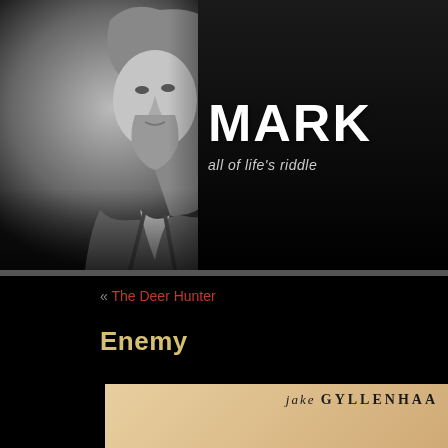[Figure (photo): Black and white photo of a bearded man with long hair, resembling a philosophical or cinematic figure, on the left side of a dark banner header]
MARK
all of life's riddle
« The Deer Hunter
Enemy
[Figure (photo): Movie poster for Enemy featuring Jake Gyllenhaal, with a tan/beige background showing 'JAKE GYLLENHAA' at top and large bold letters 'ENEM' at bottom]